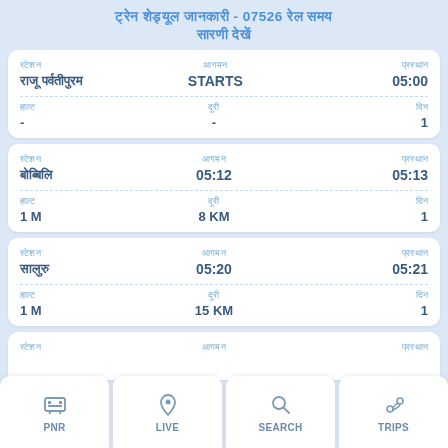ट्रेन शेड्यूल जानकारी - 07526 रेल समय सारिणी
| स्टेशन | आगमन | प्रस्थान |
| --- | --- | --- |
| राजू पर्वतीपुरम | STARTS | 05:00 |
| - | - | 1 |
| स्टेशन | आगमन | प्रस्थान |
| --- | --- | --- |
| बोब्बिलि | 05:12 | 05:13 |
| 1 M | 8 KM | 1 |
| स्टेशन | आगमन | प्रस्थान |
| --- | --- | --- |
| सालुरु | 05:20 | 05:21 |
| 1 M | 15 KM | 1 |